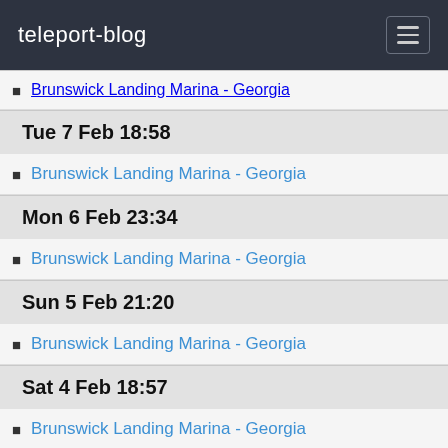teleport-blog
Brunswick Landing Marina - Georgia
Tue 7 Feb 18:58
Brunswick Landing Marina - Georgia
Mon 6 Feb 23:34
Brunswick Landing Marina - Georgia
Sun 5 Feb 21:20
Brunswick Landing Marina - Georgia
Sat 4 Feb 18:57
Brunswick Landing Marina - Georgia
Fri 3 Feb 18:12
Brunswick Landing Marina - Georgia
Thu 2 Feb 18:01
Brunswick Landing Marina - Georgia
Wed 1 Feb 18:40
Brunswick Landing Marina - Georgia